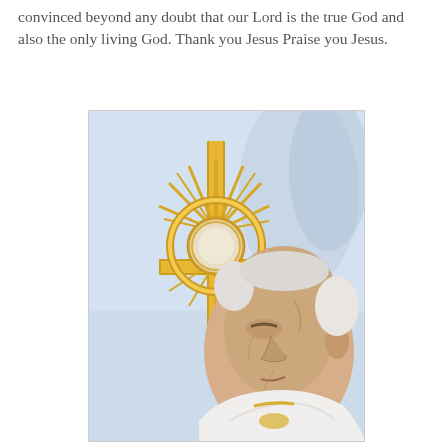convinced beyond any doubt that our Lord is the true God and also the only living God. Thank you Jesus Praise you Jesus.
[Figure (photo): An elderly pope or Catholic clergyman in white vestments holding a golden monstrance (sunburst reliquary/ostensorium), viewed in close-up profile.]